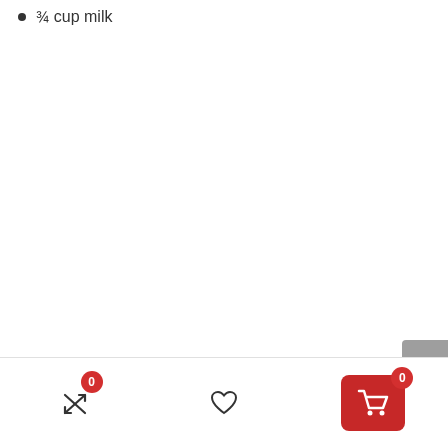¾ cup milk
[Figure (screenshot): Scroll to top button on the right side, gray rounded rectangle with upward chevron arrow icon]
[Figure (screenshot): Bottom navigation bar with three icons: a crossed arrows shuffle icon with red badge showing 0, a heart/favorite icon, and a red cart button with white shopping cart icon and red badge showing 0]